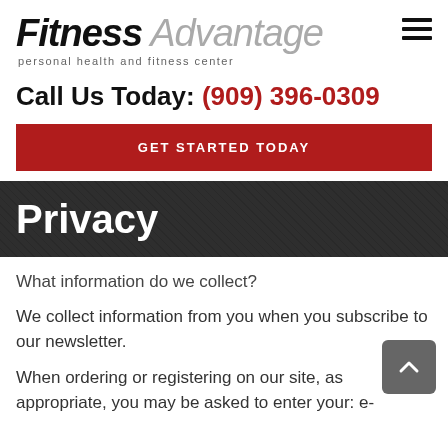Fitness Advantage personal health and fitness center
Call Us Today: (909) 396-0309
GET STARTED TODAY
Privacy
What information do we collect?
We collect information from you when you subscribe to our newsletter.
When ordering or registering on our site, as appropriate, you may be asked to enter your: e-